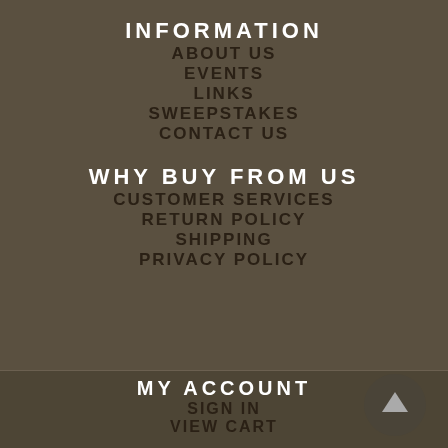INFORMATION
ABOUT US
EVENTS
LINKS
SWEEPSTAKES
CONTACT US
WHY BUY FROM US
CUSTOMER SERVICES
RETURN POLICY
SHIPPING
PRIVACY POLICY
MY ACCOUNT
SIGN IN
VIEW CART